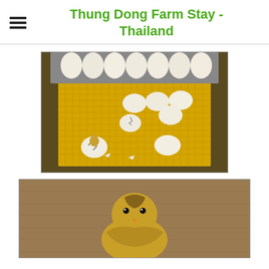Thung Dong Farm Stay - Thailand
[Figure (photo): Eggs in an incubator on a yellow plastic grid rack, with two eggs cracking open showing chicks hatching inside a metal incubator tray]
[Figure (photo): Close-up photo of a newly hatched chick on a textured brown surface]